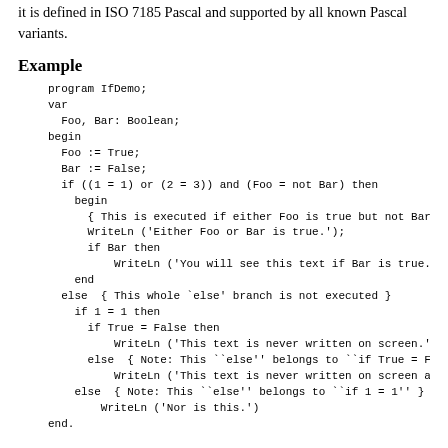it is defined in ISO 7185 Pascal and supported by all known Pascal variants.
Example
program IfDemo;
var
  Foo, Bar: Boolean;
begin
  Foo := True;
  Bar := False;
  if ((1 = 1) or (2 = 3)) and (Foo = not Bar) then
    begin
      { This is executed if either Foo is true but not Bar or w
      WriteLn ('Either Foo or Bar is true.');
      if Bar then
          WriteLn ('You will see this text if Bar is true.')
    end
  else  { This whole `else' branch is not executed }
    if 1 = 1 then
      if True = False then
          WriteLn ('This text is never written on screen.')
      else  { Note: This ``else'' belongs to ``if True = False'
          WriteLn ('This text is never written on screen as well.
    else  { Note: This ``else'' belongs to ``if 1 = 1'' }
        WriteLn ('Nor is this.')
end.
See also
Keywords, if Statement, else, then